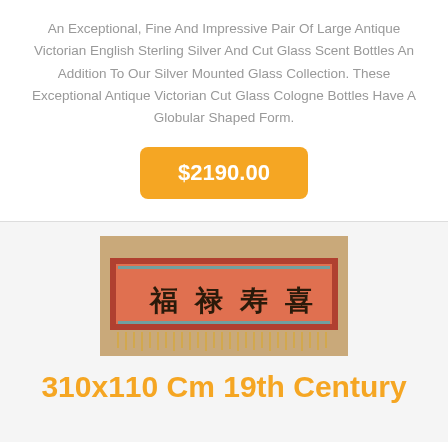An Exceptional, Fine And Impressive Pair Of Large Antique Victorian English Sterling Silver And Cut Glass Scent Bottles An Addition To Our Silver Mounted Glass Collection. These Exceptional Antique Victorian Cut Glass Cologne Bottles Have A Globular Shaped Form.
$2190.00
[Figure (photo): A red Chinese/Asian textile runner or wall hanging with Chinese characters on a wooden surface, with fringe trim on the bottom]
310x110 Cm 19th Century